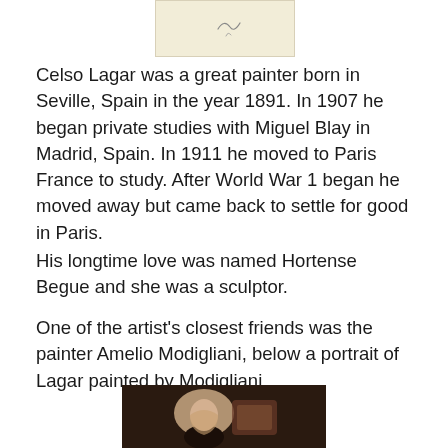[Figure (photo): A small faded document or signature image with a cursive letter on a cream/beige background]
Celso Lagar was a great painter born in Seville, Spain in the year 1891. In 1907 he began private studies with Miguel Blay in Madrid, Spain. In 1911 he moved to Paris France to study. After World War 1 began he moved away but came back to settle for good in Paris.
His longtime love was named Hortense Begue and she was a sculptor.
One of the artist's closest friends was the painter Amelio Modigliani, below a portrait of Lagar painted by Modigliani.
[Figure (photo): A portrait painting of Celso Lagar painted by Modigliani, showing dark warm tones with a figure visible]